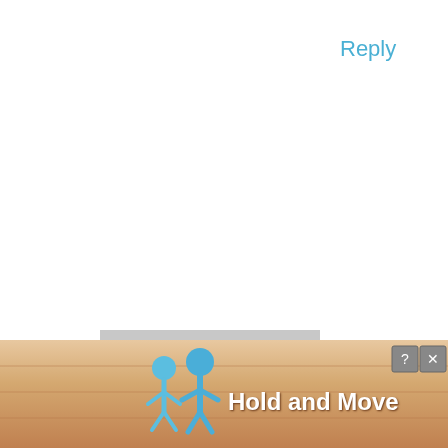Reply
[Figure (illustration): Default grey avatar silhouette of a person (head and shoulders) on a light grey background]
randi says
MAY 10, 2016 AT 3:50 PM
Hello. I just come across your blog, it is wonderful! I'm looking forward to digging in deeper tonight! I am
[Figure (screenshot): Ad banner at bottom showing animated figures and text 'Hold and Move' with close (X) and help (?) buttons]